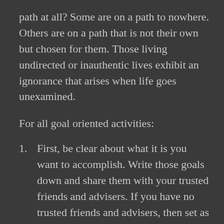path at all? Some are on a path to nowhere. Others are on a path that is not their own but chosen for them. Those living undirected or inauthentic lives exhibit an ignorance that arises when life goes unexamined.
For all goal oriented activities:
First, be clear about what it is you want to accomplish. Write those goals down and share them with your trusted friends and advisers. If you have no trusted friends and advisers, then set as your first goal